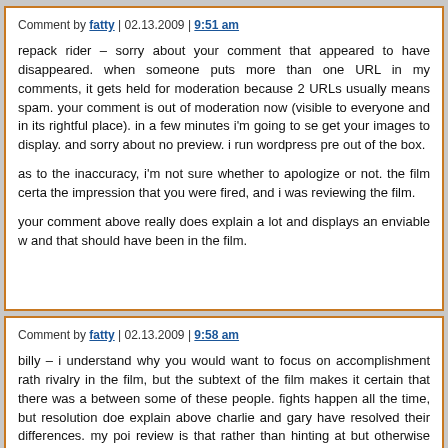Comment by fatty | 02.13.2009 | 9:51 am
repack rider – sorry about your comment that appeared to have disappeared. when someone puts more than one URL in my comments, it gets held for moderation because 2 URLs usually means spam. your comment is out of moderation now (visible to everyone and in its rightful place). in a few minutes i'm going to see if i can get your images to display. and sorry about no preview. i run wordpress pretty much out of the box.

as to the inaccuracy, i'm not sure whether to apologize or not. the film certainly gave the impression that you were fired, and i was reviewing the film.

your comment above really does explain a lot and displays an enviable work ethic, and that should have been in the film.
Comment by fatty | 02.13.2009 | 9:58 am
billy – i understand why you would want to focus on accomplishment rather than rivalry in the film, but the subtext of the film makes it certain that there was a rivalry between some of these people. fights happen all the time, but resolution doesn't. as i explain above charlie and gary have resolved their differences. my point in the review is that rather than hinting at but otherwise ignoring differences, you should have made them clear, especially considering that both men seem to have made peace with both their past and present.

i feel like a dope even going into this at all, because i have never made a fi